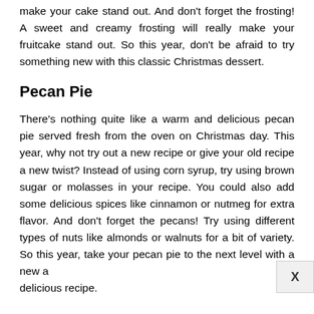make your cake stand out. And don't forget the frosting! A sweet and creamy frosting will really make your fruitcake stand out. So this year, don't be afraid to try something new with this classic Christmas dessert.
Pecan Pie
There's nothing quite like a warm and delicious pecan pie served fresh from the oven on Christmas day. This year, why not try out a new recipe or give your old recipe a new twist? Instead of using corn syrup, try using brown sugar or molasses in your recipe. You could also add some delicious spices like cinnamon or nutmeg for extra flavor. And don't forget the pecans! Try using different types of nuts like almonds or walnuts for a bit of variety. So this year, take your pecan pie to the next level with a new and delicious recipe.